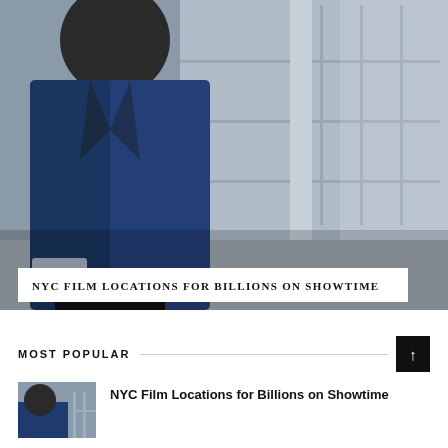[Figure (photo): A man in a navy blue blazer standing in an industrial loft space with large warehouse windows in the background. The scene has a grey, concrete aesthetic.]
NYC FILM LOCATIONS FOR BILLIONS ON SHOWTIME
MOST POPULAR
[Figure (photo): Thumbnail image of a person, related to the NYC Film Locations for Billions on Showtime article.]
NYC Film Locations for Billions on Showtime